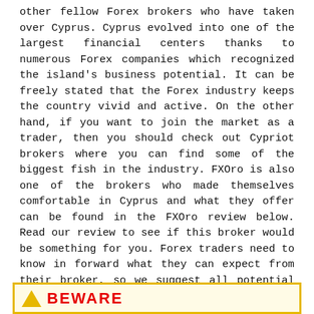other fellow Forex brokers who have taken over Cyprus. Cyprus evolved into one of the largest financial centers thanks to numerous Forex companies which recognized the island's business potential. It can be freely stated that the Forex industry keeps the country vivid and active. On the other hand, if you want to join the market as a trader, then you should check out Cypriot brokers where you can find some of the biggest fish in the industry. FXOro is also one of the brokers who made themselves comfortable in Cyprus and what they offer can be found in the FXOro review below. Read our review to see if this broker would be something for you. Forex traders need to know in forward what they can expect from their broker, so we suggest all potential traders to prepare well before they deposit funds. FXOro is a well-known broker, so let's check out what the broker brings to the table.
[Figure (other): Beware warning box with yellow border, warning triangle icon and red BEWARE text, partially visible at bottom of page]